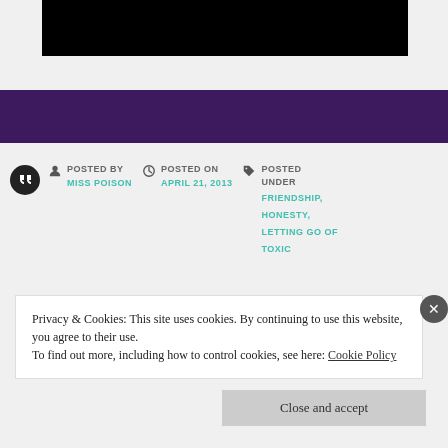[Figure (photo): Black rectangle banner at top of page]
[Figure (other): Dark purple navigation bar]
POSTED BY
MISS POISON
POSTED ON
APRIL 21, 2013
POSTED UNDER
FRIENDSHIP,
HONESTY,
LETTING GO OF
TOXIC
Privacy & Cookies: This site uses cookies. By continuing to use this website, you agree to their use.
To find out more, including how to control cookies, see here: Cookie Policy
Close and accept